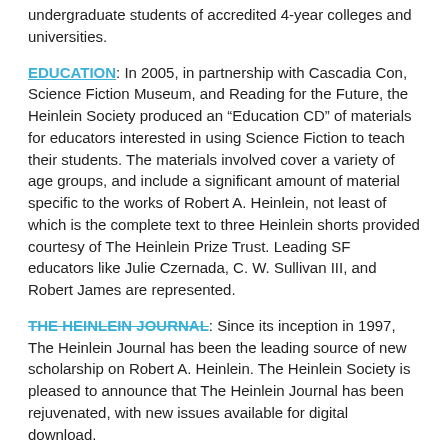undergraduate students of accredited 4-year colleges and universities.
EDUCATION: In 2005, in partnership with Cascadia Con, Science Fiction Museum, and Reading for the Future, the Heinlein Society produced an “Education CD” of materials for educators interested in using Science Fiction to teach their students. The materials involved cover a variety of age groups, and include a significant amount of material specific to the works of Robert A. Heinlein, not least of which is the complete text to three Heinlein shorts provided courtesy of The Heinlein Prize Trust. Leading SF educators like Julie Czernada, C. W. Sullivan III, and Robert James are represented.
THE HEINLEIN JOURNAL: Since its inception in 1997, The Heinlein Journal has been the leading source of new scholarship on Robert A. Heinlein. The Heinlein Society is pleased to announce that The Heinlein Journal has been rejuvenated, with new issues available for digital download.
In all our programs we could use your support, your enthusiasm, and your volunteer help.